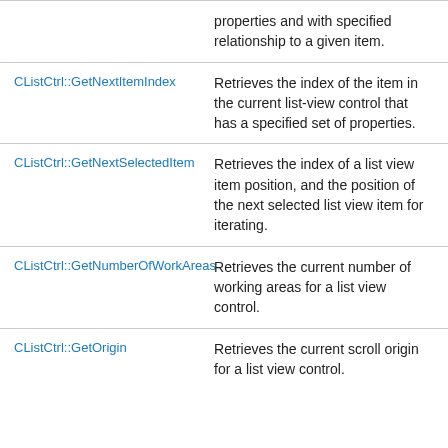| Method | Description |
| --- | --- |
|  | properties and with specified relationship to a given item. |
| CListCtrl::GetNextItemIndex | Retrieves the index of the item in the current list-view control that has a specified set of properties. |
| CListCtrl::GetNextSelectedItem | Retrieves the index of a list view item position, and the position of the next selected list view item for iterating. |
| CListCtrl::GetNumberOfWorkAreas | Retrieves the current number of working areas for a list view control. |
| CListCtrl::GetOrigin | Retrieves the current scroll origin for a list view control. |